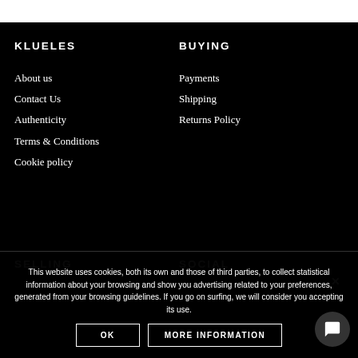KLUELES
About us
Contact Us
Authenticity
Terms & Conditions
Cookie policy
BUYING
Payments
Shipping
Returns Policy
SELLING
SOCIAL
This website uses cookies, both its own and those of third parties, to collect statistical information about your browsing and show you advertising related to your preferences, generated from your browsing guidelines. If you go on surfing, we will consider you accepting its use.
OK
MORE INFORMATION